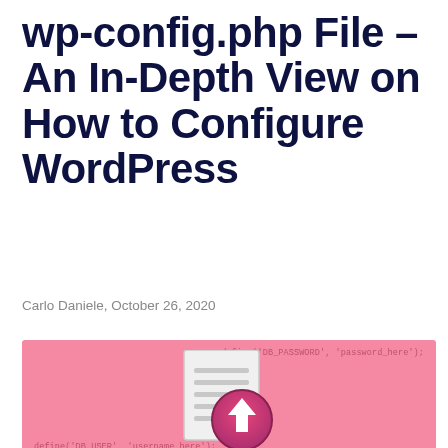wp-config.php File – An In-Depth View on How to Configure WordPress
Carlo Daniele, October 26, 2020
[Figure (illustration): Pink banner image with a document/upload icon in the center and code snippets: define('DB_PASSWORD', 'password_here'); at top right and define('DB_USER', 'username_here'); at bottom left]